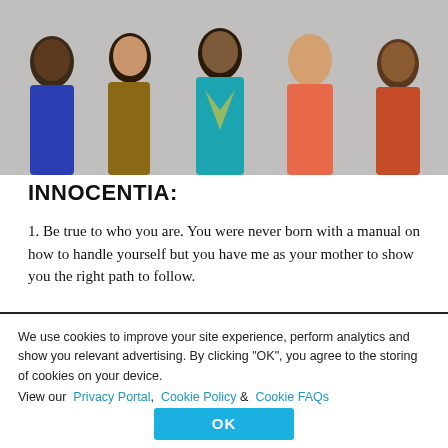[Figure (photo): Group photo of five diverse women smiling, posed against a light grey background. From left to right: a woman in a blue outfit, a woman in a leopard-print top, a woman in a teal/yellow patterned dress, a woman in a coral/salmon jacket, and a woman in a colorful patterned outfit.]
INNOCENTIA:
1. Be true to who you are. You were never born with a manual on how to handle yourself but you have me as your mother to show you the right path to follow.
We use cookies to improve your site experience, perform analytics and show you relevant advertising. By clicking "OK", you agree to the storing of cookies on your device. View our  Privacy Portal,  Cookie Policy  &   Cookie FAQs